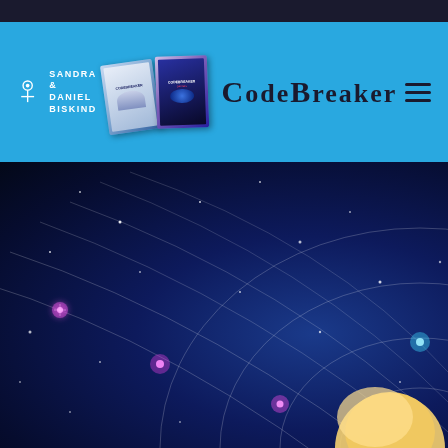[Figure (logo): Sandra & Daniel Biskind CodeBreaker website header with logo, book covers, title text, and hamburger menu on sky blue background]
[Figure (photo): Hero background image with deep space/galaxy theme — dark navy/blue cosmic background with glowing arc lines, scattered star sparkles in pink and cyan, and a partial view of a blonde woman at bottom right]